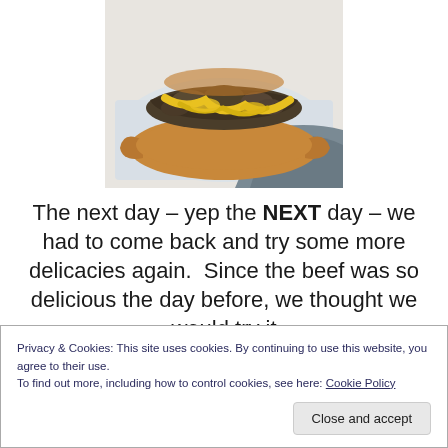[Figure (photo): Photo of a meat sandwich or cheesesteak on a croissant-style bun with yellow cheese sauce, placed on white paper]
The next day – yep the NEXT day – we had to come back and try some more delicacies again.  Since the beef was so delicious the day before, we thought we would try it
Privacy & Cookies: This site uses cookies. By continuing to use this website, you agree to their use.
To find out more, including how to control cookies, see here: Cookie Policy